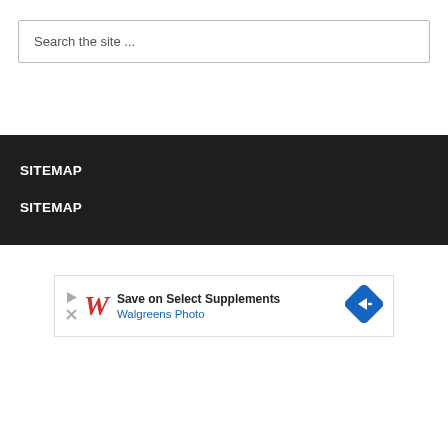Search the site ...
SITEMAP
SITEMAP
[Figure (other): Walgreens advertisement banner: Save on Select Supplements - Walgreens Photo, with Walgreens logo and direction arrow icon]